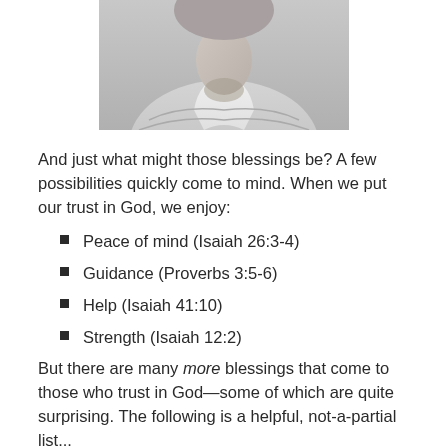[Figure (photo): Partial photo of an elderly person in a grey sweater and white collared shirt, shown from chin/neck down, head bowed.]
And just what might those blessings be? A few possibilities quickly come to mind. When we put our trust in God, we enjoy:
Peace of mind (Isaiah 26:3-4)
Guidance (Proverbs 3:5-6)
Help (Isaiah 41:10)
Strength (Isaiah 12:2)
But there are many more blessings that come to those who trust in God—some of which are quite surprising. The following is a helpful, not-a-partial list...